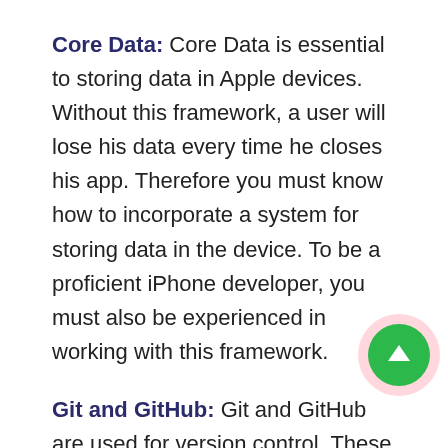Core Data: Core Data is essential to storing data in Apple devices. Without this framework, a user will lose his data every time he closes his app. Therefore you must know how to incorporate a system for storing data in the device. To be a proficient iPhone developer, you must also be experienced in working with this framework.
Git and GitHub: Git and GitHub are used for version control. These two are essential to know for a developer, especially if you are working on projects that are likely to have several updates in the future.
Grand Central Dispatch or GCD: With GCD, you can add concurrency to your apps, and the user can perform multiple tasks without any problem. If you...